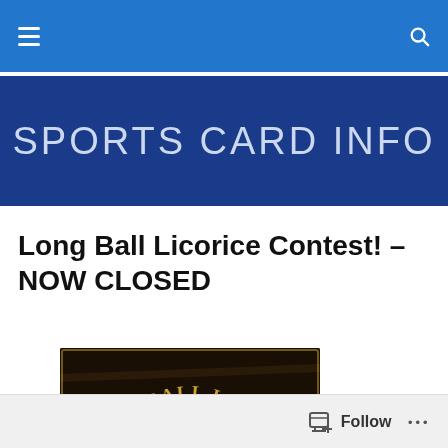Sports Card Info — navigation bar
SPORTS CARD INFO
Long Ball Licorice Contest! – NOW CLOSED
[Figure (photo): Long Ball Licorice product packaging showing a vintage baseball player and the text 'LONG BALL LICORICE' and 'LONG BALL' in gold lettering on a dark background.]
Follow